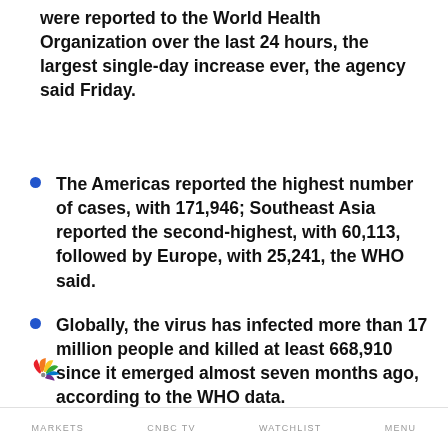were reported to the World Health Organization over the last 24 hours, the largest single-day increase ever, the agency said Friday.
The Americas reported the highest number of cases, with 171,946; Southeast Asia reported the second-highest, with 60,113, followed by Europe, with 25,241, the WHO said.
Globally, the virus has infected more than 17 million people and killed at least 668,910 since it emerged almost seven months ago, according to the WHO data.
[Figure (logo): CNBC peacock multicolor logo]
MARKETS   CNBC TV   WATCHLIST   MENU